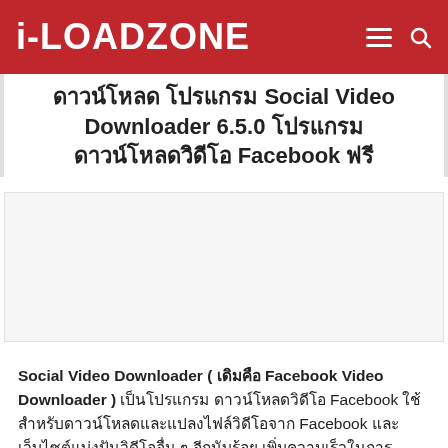i-LOADZONE
ดาวน์โหลด โปรแกรม Social Video Downloader 6.5.0 โปรแกรมดาวน์โหลดวิดีโอ Facebook ฟรี
[Figure (other): Advertisement placeholder area]
Social Video Downloader ( เดิมคือ Facebook Video Downloader ) เป็นโปรแกรม ดาวน์โหลดวิดีโอ Facebook ใช้สำหรับดาวน์โหลดและแปลงไฟล์วิดีโอจาก Facebook และเว็บไซต์แบ่งปันวิดีโออื่น ๆ อีกนับร้อย เพิ่มความเร็วในการดาวน์โหลดของคุณได้ถึง 500% หรือมากกว่านั้น ด้วยรูปลักษณ์หน้าตาโปรแกรมที่มีโครงสร้างเรียบร้อยและเข้าใจง่าย มีอินเก